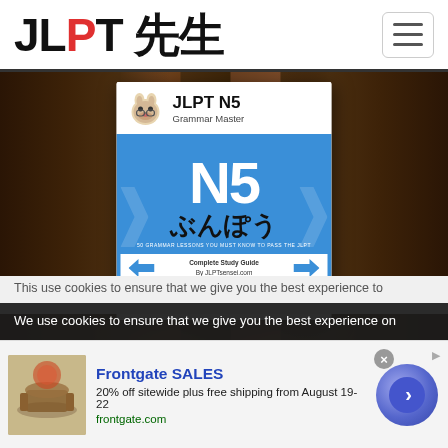JLPT 先生
[Figure (photo): JLPT N5 Grammar Master book cover displayed on a wooden background. The book shows 'JLPT N5 Grammar Master' text with a Shiba Inu dog icon, large 'N5' text and 'ぶんぽう' in hiragana on a blue background, with 'Complete Study Guide By JLPTsensei.com' at the bottom.]
We use cookies to ensure that we give you the best experience on
This use cookies to ensure that we give you the best experience to
[Figure (screenshot): Advertisement for Frontgate SALES: 20% off sitewide plus free shipping from August 19-22. frontgate.com. Shows outdoor patio furniture thumbnail and a blue circular arrow button.]